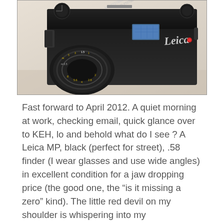[Figure (photo): Close-up photograph of a black Leica MP camera body, showing the top plate with serial number MP-2727864, the viewfinder window, lens with aperture/distance rings, and the Leica logo engraved on the body.]
Fast forward to April 2012. A quiet morning at work, checking email, quick glance over to KEH, lo and behold what do I see ? A Leica MP, black (perfect for street), .58 finder (I wear glasses and use wide angles) in excellent condition for a jaw dropping price (the good one, the “is it missing a zero” kind). The little red devil on my shoulder is whispering into my